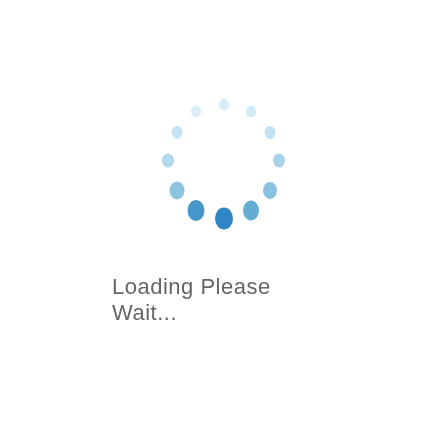[Figure (illustration): A circular loading spinner made of dots and rounded rectangles in varying shades of blue, arranged in a clock-like pattern. The dots at the top are light blue and small, becoming progressively larger and darker toward the bottom-right, indicating a spinning animation.]
Loading Please Wait...